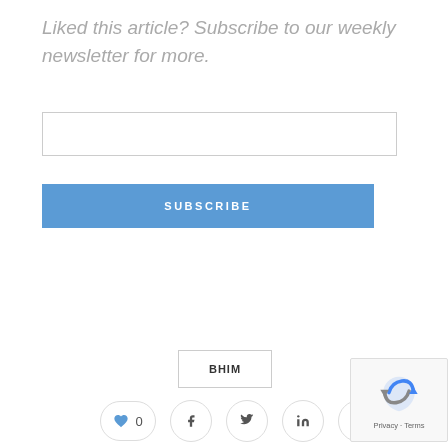Liked this article? Subscribe to our weekly newsletter for more.
SUBSCRIBE
BHIM
0